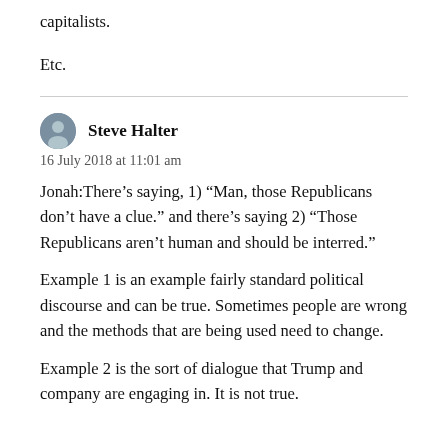capitalists.
Etc.
Steve Halter
16 July 2018 at 11:01 am
Jonah:There’s saying, 1) “Man, those Republicans don’t have a clue.” and there’s saying 2) “Those Republicans aren’t human and should be interred.”
Example 1 is an example fairly standard political discourse and can be true. Sometimes people are wrong and the methods that are being used need to change.
Example 2 is the sort of dialogue that Trump and company are engaging in. It is not true.